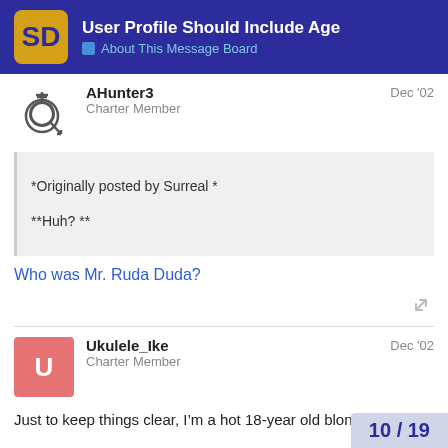User Profile Should Include Age | About This Message Board
AHunter3 | Charter Member | Dec '02
*Originally posted by Surreal *
**Huh? **
Who was Mr. Ruda Duda?
Ukulele_Ike | Charter Member | Dec '02
Just to keep things clear, I’m a hot 18-year old blonde co-ed.
10 / 19